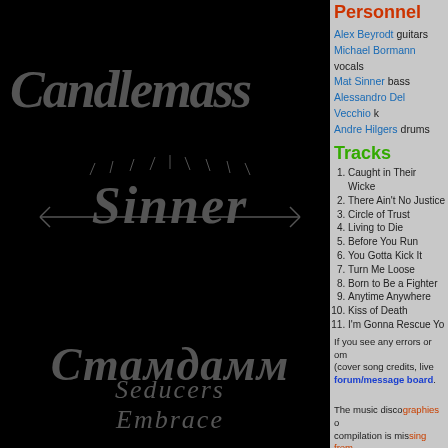[Figure (photo): Black album cover background with band name 'Candlemass' in gothic grey/silver text at top, two dark logo images in middle and bottom sections, and 'Seducers Embrace' text logo at bottom]
Personnel
Alex Beyrodt guitars
Michael Bormann vocals
Mat Sinner bass
Alessandro Del Vecchio k...
Andre Hilgers drums
Tracks
1. Caught in Their Wicke...
2. There Ain't No Justice...
3. Circle of Trust
4. Living to Die
5. Before You Run
6. You Gotta Kick It
7. Turn Me Loose
8. Born to Be a Fighter
9. Anytime Anywhere
10. Kiss of Death
11. I'm Gonna Rescue Yo...
If you see any errors or om... (cover song credits, live... forum/message board.
The music discographies... compilation is missing from... is to make the discographi... live compilation CD, we wa... only or LP-only releases.